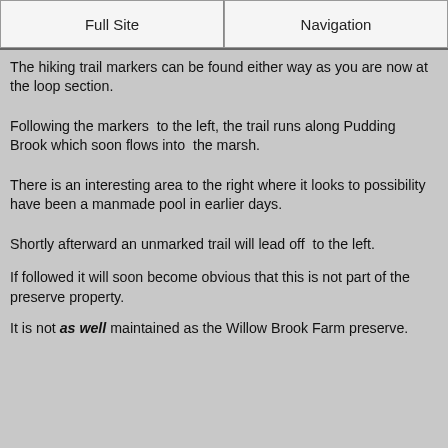Full Site | Navigation
The hiking trail markers can be found either way as you are now at the loop section.
Following the markers  to the left, the trail runs along Pudding Brook which soon flows into  the marsh.
There is an interesting area to the right where it looks to possibility have been a manmade pool in earlier days.
Shortly afterward an unmarked trail will lead off  to the left.
If followed it will soon become obvious that this is not part of the preserve property.
It is not as well maintained as the Willow Brook Farm preserve.
an access hiking trail that leads to the Town of Pembroke
[Figure (infographic): Advertisement banner: Check the Expiration Date. Don't wait until the last minute. Check your passport's expiration before booking travel. U.S. Department of State. Open button.]